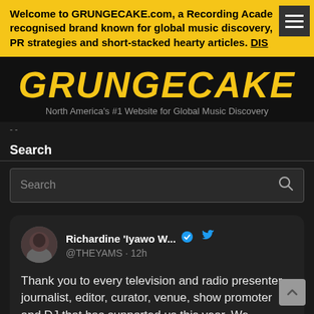Welcome to GRUNGECAKE.com, a Recording Academy recognised brand known for global music discovery, PR strategies and short-stacked hearty articles. DIS
GRUNGECAKE
North America's #1 Website for Global Music Discovery
Search
Search
[Figure (screenshot): Embedded tweet from @THEYAMS (Richardine 'Iyawo W...) with verified badge, posted 12h ago, text: Thank you to every television and radio presenter, journalist, editor, curator, venue, show promoter and DJ that has supported us this year. We appreciate you and what's to come ♥. Actions: comment icon, heart icon with 35 likes.]